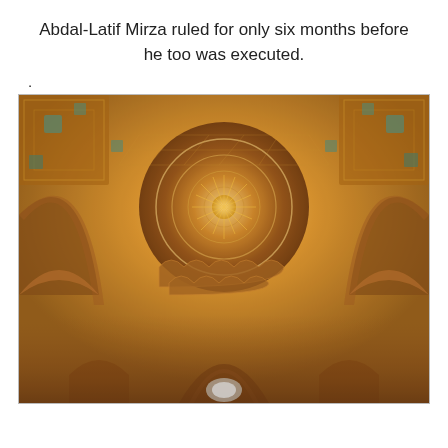Abdal-Latif Mirza ruled for only six months before he too was executed.
.
[Figure (photo): Interior photograph of an ornate Islamic architectural ceiling, likely a mosque or historic building, featuring intricate geometric and floral patterns in gold, brown, and teal tones. A large central dome with muqarnas (honeycomb vaulting) is surrounded by arches and elaborate tilework.]